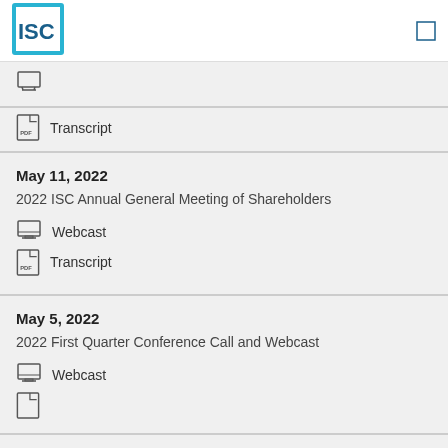ISC
Transcript
May 11, 2022
2022 ISC Annual General Meeting of Shareholders
Webcast
Transcript
May 5, 2022
2022 First Quarter Conference Call and Webcast
Webcast